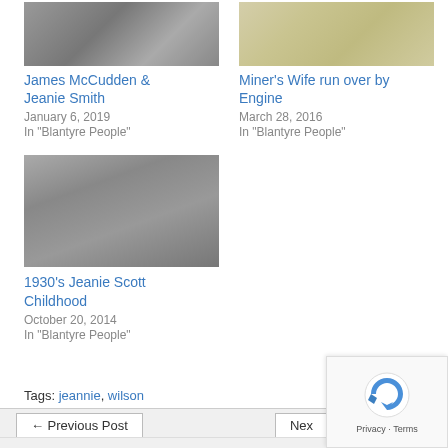[Figure (photo): Black and white photo of a person (James McCudden & Jeanie Smith related)]
James McCudden & Jeanie Smith
January 6, 2019
In "Blantyre People"
[Figure (map): Aerial map image related to Miner's Wife run over by Engine]
Miner's Wife run over by Engine
March 28, 2016
In "Blantyre People"
[Figure (photo): Black and white photo of a child (1930s Jeanie Scott Childhood)]
1930's Jeanie Scott Childhood
October 20, 2014
In "Blantyre People"
Tags: jeannie, wilson
← Previous Post   Next Post →